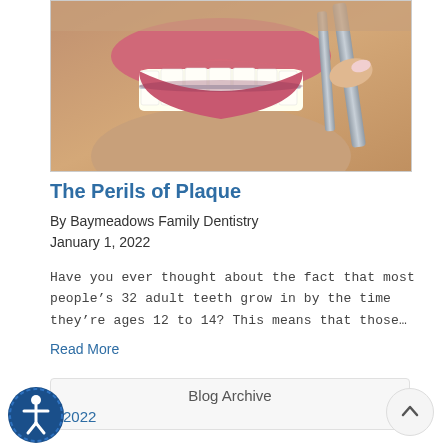[Figure (photo): Woman smiling showing dental braces, with dental tools, a dental blog image]
The Perils of Plaque
By Baymeadows Family Dentistry
January 1, 2022
Have you ever thought about the fact that most people’s 32 adult teeth grow in by the time they’re ages 12 to 14? This means that those…
Read More
Blog Archive
2022